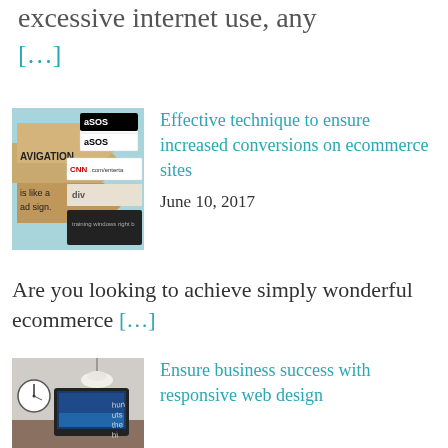excessive internet use, any
[…]
[Figure (photo): Wooden navigation sign arrows with ASOS website and CNN.com visible, on a light blue background]
Effective technique to ensure increased conversions on ecommerce sites
June 10, 2017
Are you looking to achieve simply wonderful ecommerce […]
[Figure (photo): Office desk with a laptop showing a blue website, wall clock, and pendant lamp]
Ensure business success with responsive web design